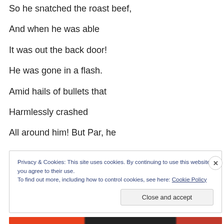So he snatched the roast beef,
And when he was able
It was out the back door!
He was gone in a flash.
Amid hails of bullets that
Harmlessly crashed
All around him! But Par, he
Privacy & Cookies: This site uses cookies. By continuing to use this website, you agree to their use. To find out more, including how to control cookies, see here: Cookie Policy